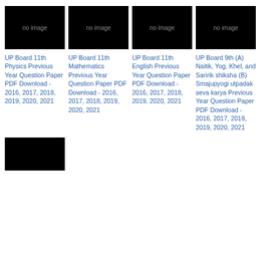[Figure (photo): Black 'no image' placeholder thumbnail]
UP Board 11th Physics Previous Year Question Paper PDF Download - 2016, 2017, 2018, 2019, 2020, 2021
[Figure (photo): Black 'no image' placeholder thumbnail]
UP Board 11th Mathematics Previous Year Question Paper PDF Download - 2016, 2017, 2018, 2019, 2020, 2021
[Figure (photo): Black 'no image' placeholder thumbnail]
UP Board 11th English Previous Year Question Paper PDF Download - 2016, 2017, 2018, 2019, 2020, 2021
[Figure (photo): Black 'no image' placeholder thumbnail]
UP Board 9th (A) Naitik, Yog, Khel, and Saririk shiksha (B) Smajupyogi utpadak seva karya Previous Year Question Paper PDF Download - 2016, 2017, 2018, 2019, 2020, 2021
[Figure (photo): Black 'no image' placeholder thumbnail (bottom row, partially visible)]